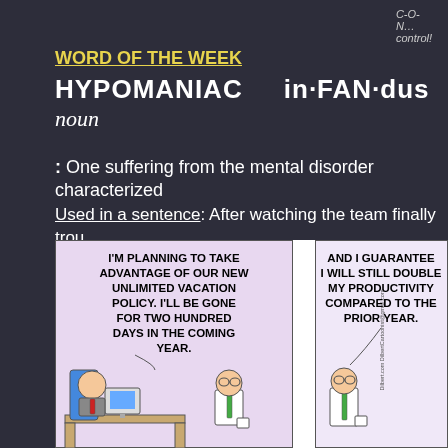C-O-N...  control!
WORD OF THE WEEK
HYPOMANIAC    in·FAN·dus
noun
:  One suffering from the mental disorder characterized
Used in a sentence:  After watching the team finally trou academy, young Terry held his breath in wait for the one from ND Nation hypomaniacs.
[Figure (illustration): Dilbert comic strip showing two panels. Left panel: a boss sitting at a desk says 'I'M PLANNING TO TAKE ADVANTAGE OF OUR NEW UNLIMITED VACATION POLICY. I'LL BE GONE FOR TWO HUNDRED DAYS IN THE COMING YEAR.' Right panel: Dilbert responds 'AND I GUARANTEE I WILL STILL DOUBLE MY PRODUCTIVITY COMPARED TO THE PRIOR YEAR.']